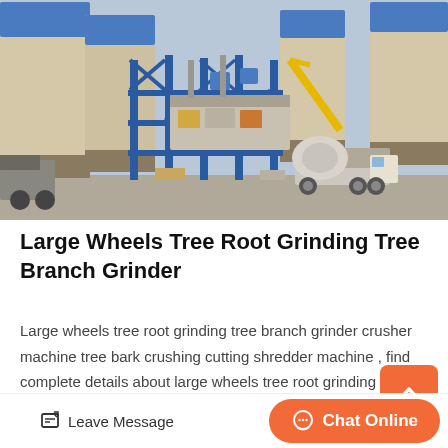[Figure (photo): Photograph of an industrial concrete batching or mixing plant with large blue and cream cylindrical silos, blue steel framework/scaffolding, machinery platforms, and a concrete mixer truck in the foreground, taken outdoors under a hazy sky.]
Large Wheels Tree Root Grinding Tree Branch Grinder
Large wheels tree root grinding tree branch grinder crusher machine tree bark crushing cutting shredder machine , find complete details about large wheels tree root grinding tree branc…